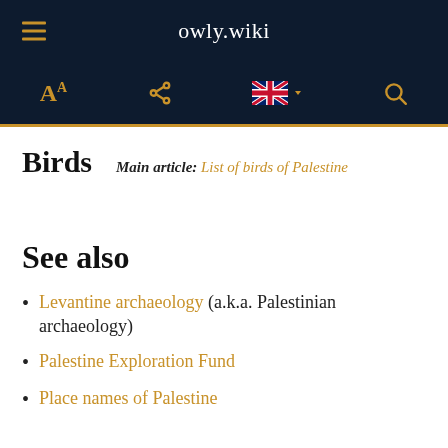owly.wiki
Birds
Main article: List of birds of Palestine
See also
Levantine archaeology (a.k.a. Palestinian archaeology)
Palestine Exploration Fund
Place names of Palestine